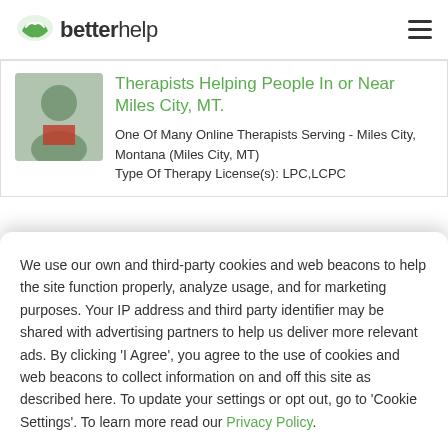betterhelp
Therapists Helping People In or Near Miles City, MT.
One Of Many Online Therapists Serving - Miles City, Montana (Miles City, MT)
Type Of Therapy License(s): LPC,LCPC
We use our own and third-party cookies and web beacons to help the site function properly, analyze usage, and for marketing purposes. Your IP address and third party identifier may be shared with advertising partners to help us deliver more relevant ads. By clicking 'I Agree', you agree to the use of cookies and web beacons to collect information on and off this site as described here. To update your settings or opt out, go to 'Cookie Settings'. To learn more read our Privacy Policy.
Cookie Settings
I Agree